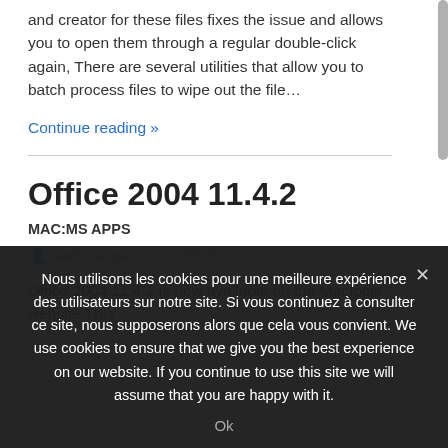and creator for these files fixes the issue and allows you to open them through a regular double-click again, There are several utilities that allow you to batch process files to wipe out the file…
Continue reading »
Office 2004 11.4.2
MAC:MS APPS
webmestre   13/5/2008
Office 2004 11.4.2 is now available on the Mactopia website This
Nous utilisons les cookies pour une meilleure expérience des utilisateurs sur notre site. Si vous continuez à consulter ce site, nous supposerons alors que cela vous convient. We use cookies to ensure that we give you the best experience on our website. If you continue to use this site we will assume that you are happy with it.
Ok